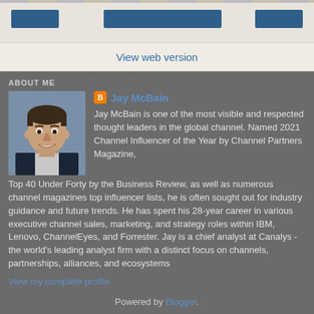[navigation buttons]
View web version
ABOUT ME
[Figure (photo): Profile photo of Jay McBain, smiling man in dark suit]
Jay McBain
Jay McBain is one of the most visible and respected thought leaders in the global channel. Named 2021 Channel Influencer of the Year by Channel Partners Magazine, Top 40 Under Forty by the Business Review, as well as numerous channel magazines top influencer lists, he is often sought out for industry guidance and future trends. He has spent his 28-year career in various executive channel sales, marketing, and strategy roles within IBM, Lenovo, ChannelEyes, and Forrester. Jay is a chief analyst at Canalys - the world's leading analyst firm with a distinct focus on channels, partnerships, alliances, and ecosystems
View my complete profile
Powered by Blogger.